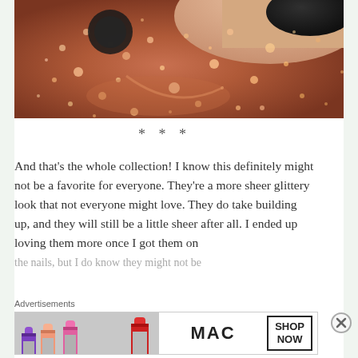[Figure (photo): Close-up photograph of rose gold/copper glitter nail polish bottle with sparkly nail visible in upper right corner]
***
And that’s the whole collection! I know this definitely might not be a favorite for everyone. They’re a more sheer glittery look that not everyone might love. They do take building up, and they will still be a little sheer after all. I ended up loving them more once I got them on the nails, but I do know they might not be
Advertisements
[Figure (screenshot): MAC cosmetics advertisement banner showing colorful lipsticks and SHOP NOW call-to-action button]